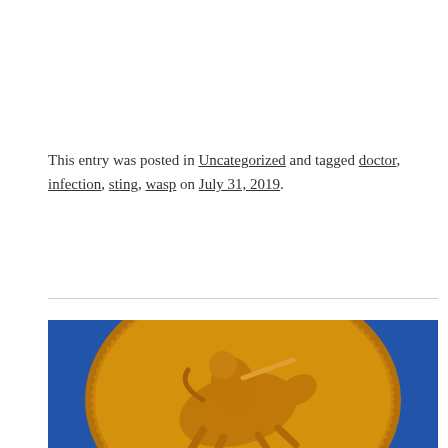This entry was posted in Uncategorized and tagged doctor, infection, sting, wasp on July 31, 2019.
[Figure (photo): Close-up photograph of a gold coin (British sovereign) showing St. George on horseback slaying a dragon, on a blue background.]